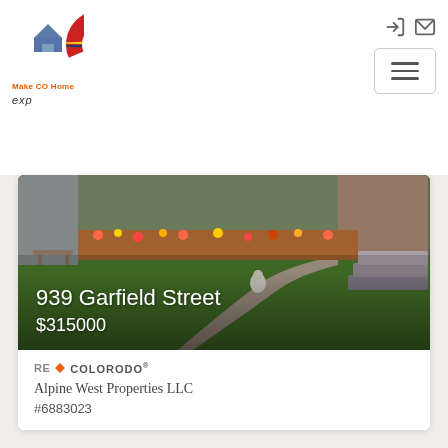[Figure (logo): Make CO Home / eXp Realty logo with Colorado C icon]
[Figure (photo): Photo of a residential property at 939 Garfield Street showing a garden with flowers, green lawn, walkway, and steps]
939 Garfield Street
$315000
[Figure (logo): RE/Colorado MLS logo]
Alpine West Properties LLC
#6883023
Meeker Listings Summary